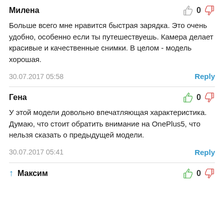Милена
Больше всего мне нравится быстрая зарядка. Это очень удобно, особенно если ты путешествуешь. Камера делает красивые и качественные снимки. В целом - модель хорошая.
30.07.2017 05:58
Reply
Гена
У этой модели довольно впечатляющая характеристика. Думаю, что стоит обратить внимание на OnePlus5, что нельзя сказать о предыдущей модели.
30.07.2017 05:41
Reply
Максим